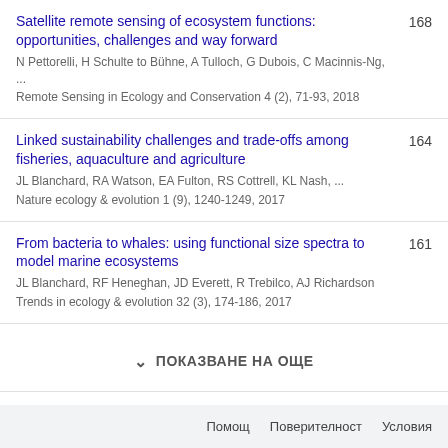Satellite remote sensing of ecosystem functions: opportunities, challenges and way forward
N Pettorelli, H Schulte to Bühne, A Tulloch, G Dubois, C Macinnis-Ng, ...
Remote Sensing in Ecology and Conservation 4 (2), 71-93, 2018
168
Linked sustainability challenges and trade-offs among fisheries, aquaculture and agriculture
JL Blanchard, RA Watson, EA Fulton, RS Cottrell, KL Nash, ...
Nature ecology & evolution 1 (9), 1240-1249, 2017
164
From bacteria to whales: using functional size spectra to model marine ecosystems
JL Blanchard, RF Heneghan, JD Everett, R Trebilco, AJ Richardson
Trends in ecology & evolution 32 (3), 174-186, 2017
161
ПОКАЗВАНЕ НА ОЩЕ
Помощ   Поверителност   Условия